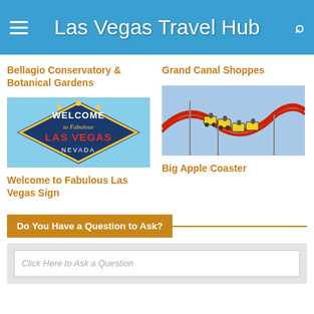Las Vegas Travel Hub
Bellagio Conservatory & Botanical Gardens
Grand Canal Shoppes
[Figure (photo): Welcome to Fabulous Las Vegas Nevada sign]
[Figure (photo): Big Apple Coaster roller coaster with yellow cars]
Welcome to Fabulous Las Vegas Sign
Big Apple Coaster
Do You Have a Question to Ask?
Click Here to Ask a Question